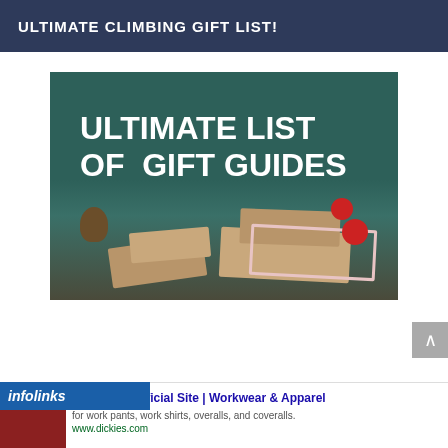ULTIMATE CLIMBING GIFT LIST!
[Figure (illustration): Promotional image with dark teal background showing wrapped brown kraft paper gift boxes, red Christmas ornament balls, pine branches and a pine cone arranged on a wooden surface. Bold white text overlaid reads 'ULTIMATE LIST OF GIFT GUIDES']
infolinks
Dickies® | Official Site | Workwear & Apparel
for work pants, work shirts, overalls, and coveralls.
www.dickies.com